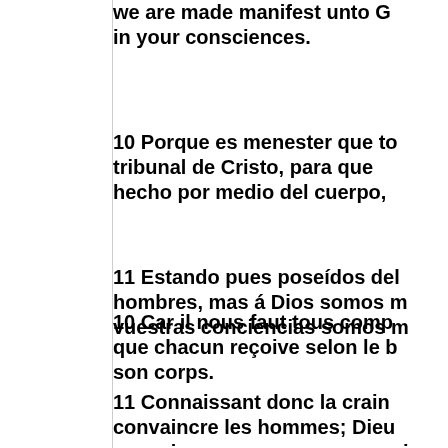we are made manifest unto G in your consciences.
10 Porque es menester que to tribunal de Cristo, para que hecho por medio del cuerpo,
11 Estando pues poseídos del hombres, mas á Dios somos m vuestras conciencias somos m
10 Car il nous faut tous comp que chacun reçoive selon le b son corps.
11 Connaissant donc la crain convaincre les hommes; Dieu consciences vous nous connai